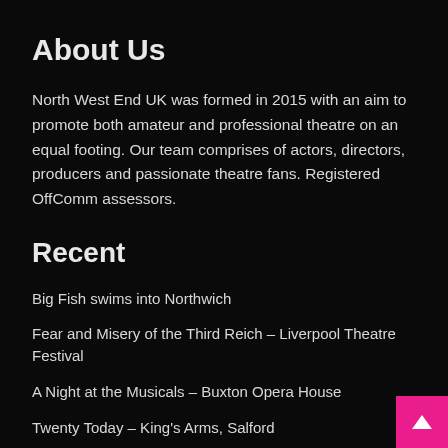About Us
North West End UK was formed in 2015 with an aim to promote both amateur and professional theatre on an equal footing. Our team comprises of actors, directors, producers and passionate theatre fans. Registered OffComm assessors.
Recent
Big Fish swims into Northwich
Fear and Misery of the Third Reich – Liverpool Theatre Festival
A Night at the Musicals – Buxton Opera House
Twenty Today – King's Arms, Salford
Professor Brian Cox presents Horizons: A 21st Century Space Odyssey – The 02, London